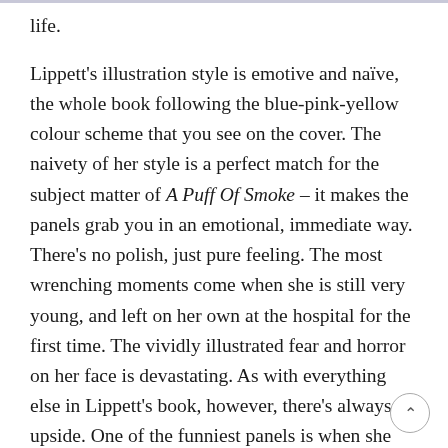life.

Lippett's illustration style is emotive and naïve, the whole book following the blue-pink-yellow colour scheme that you see on the cover. The naivety of her style is a perfect match for the subject matter of A Puff Of Smoke – it makes the panels grab you in an emotional, immediate way. There's no polish, just pure feeling. The most wrenching moments come when she is still very young, and left on her own at the hospital for the first time. The vividly illustrated fear and horror on her face is devastating. As with everything else in Lippett's book, however, there's always an upside. One of the funniest panels is when she gets home from a hospital visit and is greeted with a heaving mound of fruit, a gift from the local